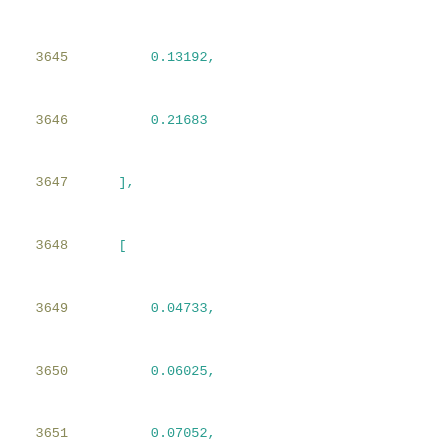3645    0.13192,
3646    0.21683
3647    ],
3648    [
3649    0.04733,
3650    0.06025,
3651    0.07052,
3652    0.08761,
3653    0.11505,
3654    0.15879,
3655    0.23566
3656    ],
3657    [
3658    0.06349,
3659    0.07911,
3660    0.09162,
3661    0.11199,
3662    0.14429,
3663    0.19459,
3664    0.27437
3665    ],
3666    [